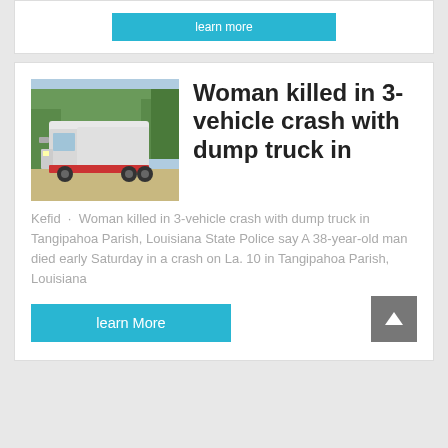[Figure (other): Partial view of a card with a cyan learn more button at the top]
[Figure (photo): White semi-truck / tractor unit parked outdoors with trees in background]
Woman killed in 3-vehicle crash with dump truck in
Kefid · Woman killed in 3-vehicle crash with dump truck in Tangipahoa Parish, Louisiana State Police say A 38-year-old man died early Saturday in a crash on La. 10 in Tangipahoa Parish, Louisiana
learn More